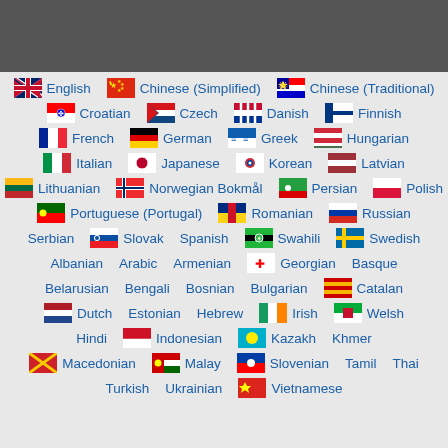[Figure (infographic): Dark grey header bar at the top of the page]
English, Chinese (Simplified), Chinese (Traditional), Croatian, Czech, Danish, Finnish, French, German, Greek, Hungarian, Italian, Japanese, Korean, Latvian, Lithuanian, Norwegian Bokmål, Persian, Polish, Portuguese (Portugal), Romanian, Russian, Serbian, Slovak, Spanish, Swahili, Swedish, Albanian, Arabic, Armenian, Georgian, Basque, Belarusian, Bengali, Bosnian, Bulgarian, Catalan, Dutch, Estonian, Hebrew, Irish, Welsh, Hindi, Indonesian, Kazakh, Khmer, Macedonian, Malay, Slovenian, Tamil, Thai, Turkish, Ukrainian, Vietnamese